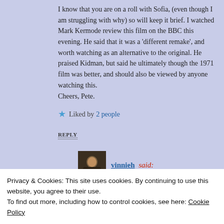I know that you are on a roll with Sofia, (even though I am struggling with why) so will keep it brief. I watched Mark Kermode review this film on the BBC this evening. He said that it was a 'different remake', and worth watching as an alternative to the original. He praised Kidman, but said he ultimately though the 1971 film was better, and should also be viewed by anyone watching this.
Cheers, Pete.
★ Liked by 2 people
REPLY
vinnieh said:
July 14, 2017 at 6:48 pm
Privacy & Cookies: This site uses cookies. By continuing to use this website, you agree to their use.
To find out more, including how to control cookies, see here: Cookie Policy
Close and accept
★ Liked by 1 person